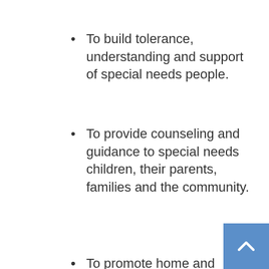To build tolerance, understanding and support of special needs people.
To provide counseling and guidance to special needs children, their parents, families and the community.
To promote home and community based therapy and rehabilitation interventions
To provide suitable education services for children with disabilities like sign language